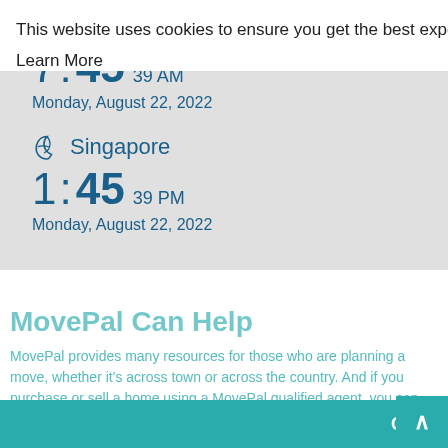Geneva
7:45 39 AM
Monday, August 22, 2022
Singapore
1:45 39 PM
Monday, August 22, 2022
MovePal Can Help
MovePal provides many resources for those who are planning a move, whether it's across town or across the country. And if you purchase or sell a home using a MovePal qualified agent, you can earn cash back or additional savings.
This website uses cookies to ensure you get the best experience on our website.
Learn More
Continue